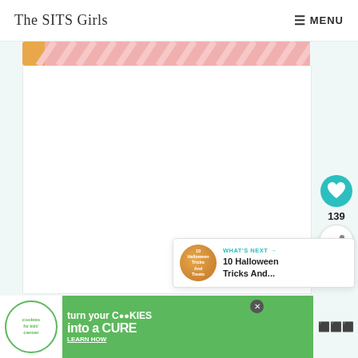The SITS Girls  MENU
[Figure (illustration): Decorative banner image with pink and gold/yellow striped pattern]
[Figure (screenshot): Main white content area (article body, mostly blank/white)]
[Figure (infographic): Heart button (teal circle with white heart icon), count 139, and share button]
[Figure (infographic): What's Next promo box: thumbnail with '10 Halloween Tricks And Treats' and teal label 'WHAT'S NEXT →', title '10 Halloween Tricks And...']
[Figure (infographic): Advertisement banner: 'cookies for kids cancer' logo, text 'turn your COOKIES into a CURE LEARN HOW' on green background with close button]